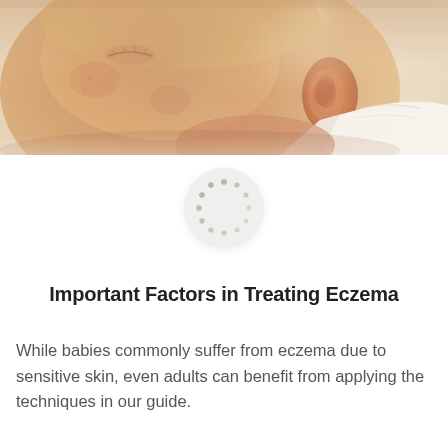[Figure (photo): Close-up photo of a sleeping baby's face and ear, lying on light-colored fabric. The infant has visible skin texture with slight redness/marks on cheek, wearing a white garment.]
[Figure (other): Circular loading spinner graphic — a light grey circle with small dots arranged in a ring pattern, suggesting a video or media loading indicator.]
Important Factors in Treating Eczema
While babies commonly suffer from eczema due to sensitive skin, even adults can benefit from applying the techniques in our guide.